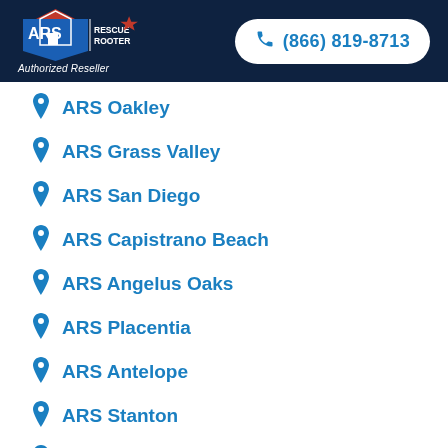[Figure (logo): ARS Rescue Rooter logo with 'Authorized Reseller' text below, white text on dark navy background]
(866) 819-8713
ARS Oakley
ARS Grass Valley
ARS San Diego
ARS Capistrano Beach
ARS Angelus Oaks
ARS Placentia
ARS Antelope
ARS Stanton
ARS Danville
Nearby ARS Service States